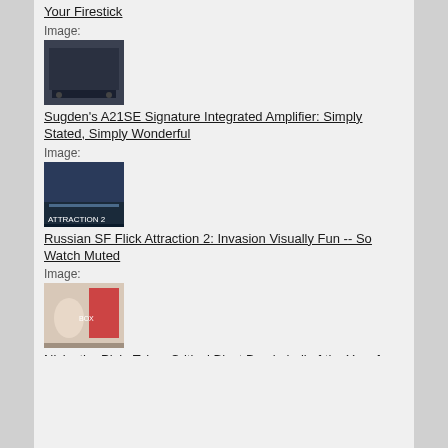Your Firestick
Image:
[Figure (photo): Dark TV/screen image thumbnail]
Sugden's A21SE Signature Integrated Amplifier: Simply Stated, Simply Wonderful
Image:
[Figure (photo): Movie cover thumbnail for Attraction 2]
Russian SF Flick Attraction 2: Invasion Visually Fun -- So Watch Muted
Image:
[Figure (photo): Action movie thumbnail]
Nicky the Pixie Takes Critical Blast Bombshell of the Year for 2020
Image:
[Figure (photo): Shazam movie poster thumbnail]
The Magic Word for the DCEU is Shazam